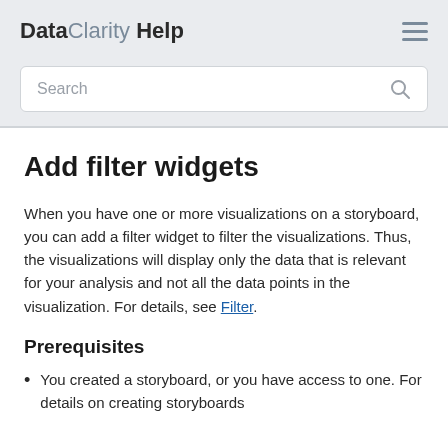DataClarity Help
Add filter widgets
When you have one or more visualizations on a storyboard, you can add a filter widget to filter the visualizations. Thus, the visualizations will display only the data that is relevant for your analysis and not all the data points in the visualization. For details, see Filter.
Prerequisites
You created a storyboard, or you have access to one. For details on creating storyboards